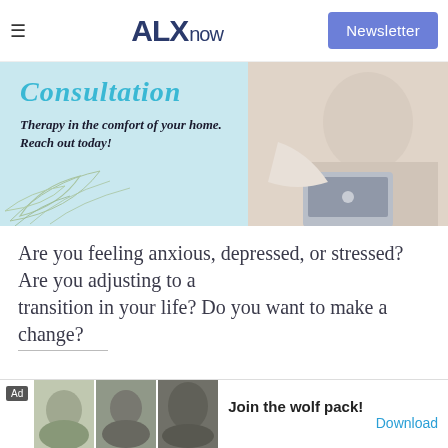ALXnow | Newsletter
[Figure (photo): Advertisement banner for therapy consultation service. Light blue background with decorative leaf outlines. Text reads 'Consultation' in italic teal font and 'Therapy in the comfort of your home. Reach out today!' in bold italic. Right side shows a person sitting with a laptop on their lap wearing a white sweater.]
Are you feeling anxious, depressed, or stressed? Are you adjusting to a transition in your life? Do you want to make a change?
Read More
Submit your own Community Post here